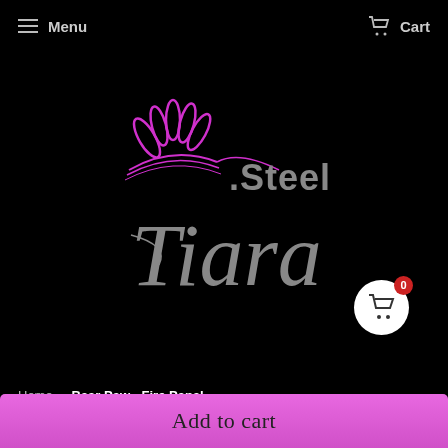Menu | Cart
[Figure (logo): Steel Tiara logo — stylized cursive 'Tiara' text in grey with '.Steel' above it, and a magenta/pink crown/tiara graphic at the top left. White circular cart button with red badge showing '0' in the bottom right.]
Home › Bear Paw - Fire Panel
[Figure (photo): Product image strip showing a white/grey marble or wood surface panel, partially visible. A small thumbnail image on the right showing a bear paw fire panel product.]
Add to cart